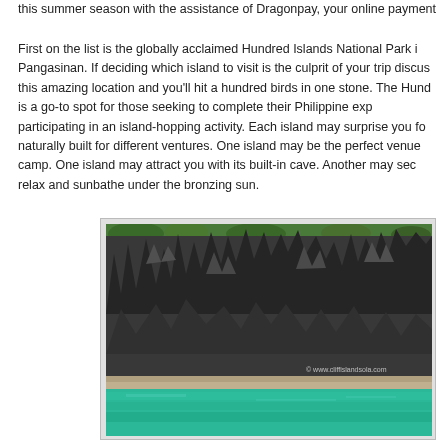this summer season with the assistance of Dragonpay, your online payment...
First on the list is the globally acclaimed Hundred Islands National Park in Pangasinan. If deciding which island to visit is the culprit of your trip discus this amazing location and you'll hit a hundred birds in one stone. The Hund is a go-to spot for those seeking to complete their Philippine exp participating in an island-hopping activity. Each island may surprise you fo naturally built for different ventures. One island may be the perfect venue camp. One island may attract you with its built-in cave. Another may sec relax and sunbathe under the bronzing sun.
[Figure (photo): Photograph of dramatic limestone rock formations rising from turquoise water at what appears to be Hundred Islands National Park in Pangasinan, Philippines. Jagged grey karst rocks with some green vegetation at the top, sandy beach at the base, and clear teal/green water in the foreground. Watermark reads www.cliffislandsola.com]